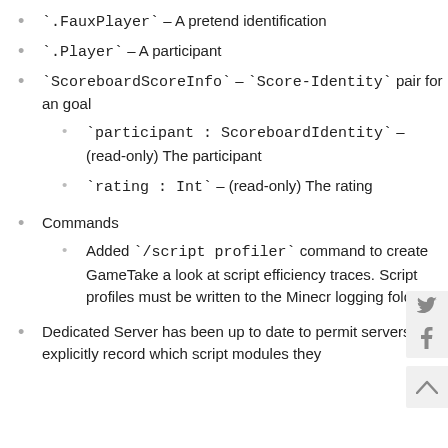`.FauxPlayer` – A pretend identification
`.Player` – A participant
`ScoreboardScoreInfo` – `Score-Identity` pair for an goal
`participant : ScoreboardIdentity` – (read-only) The participant
`rating : Int` – (read-only) The rating
Commands
Added `/script profiler` command to create GameTake a look at script efficiency traces. Script profiles must be written to the Minecr logging folder
Dedicated Server has been up to date to permit servers to explicitly record which script modules they